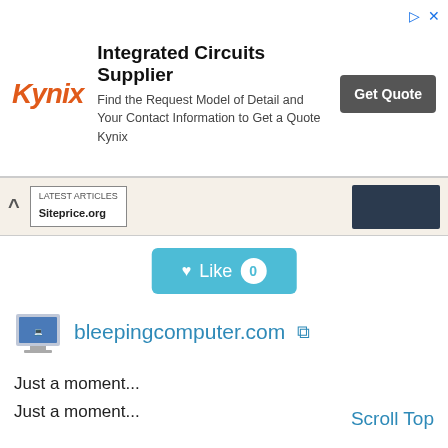[Figure (screenshot): Advertisement banner for Kynix Integrated Circuits Supplier with logo, description text, and Get Quote button]
[Figure (screenshot): Navigation bar with chevron up arrow, Siteprice.org label, and dark image box on the right]
[Figure (screenshot): Like button with heart icon showing count 0]
[Figure (screenshot): bleepingcomputer.com site icon and link with external link icon]
Just a moment...
Just a moment...
Scroll Top
Semrush Rank: 11,612
Facebook
Website Worth: $ 140,400
Categories: Computers/Chats and Forums, Computers/Security, Home/Consumer Information,